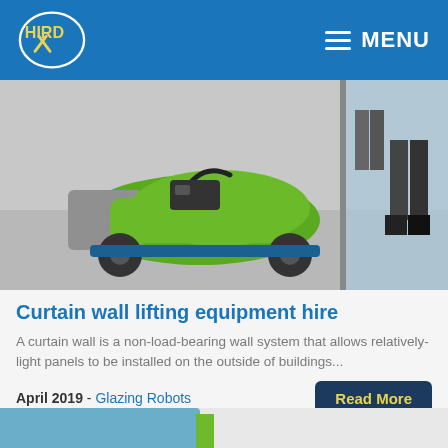HIRD — MENU
[Figure (photo): A green glazing robot on a wheeled cart positioned near large glass panels in a construction setting. A person's legs are visible in the background near a glass facade.]
Curtain wall lifting equipment hire
A curtain wall is a non-load-bearing wall system that allows relatively-light panels to be installed on the outside of buildings...
April 2019 - Glazing Robots
Read More